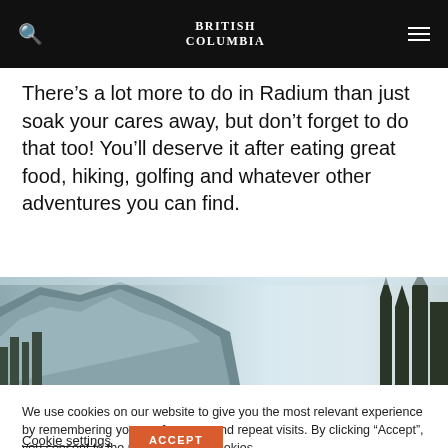British Columbia
There’s a lot more to do in Radium than just soak your cares away, but don’t forget to do that too! You’ll deserve it after eating great food, hiking, golfing and whatever other adventures you can find.
[Figure (photo): Landscape photo showing snow-covered forested mountains on the left and conifer trees on the right against a light blue sky.]
We use cookies on our website to give you the most relevant experience by remembering your preferences and repeat visits. By clicking “Accept”, you consent to the use of ALL the cookies.
Cookie settings  ACCEPT